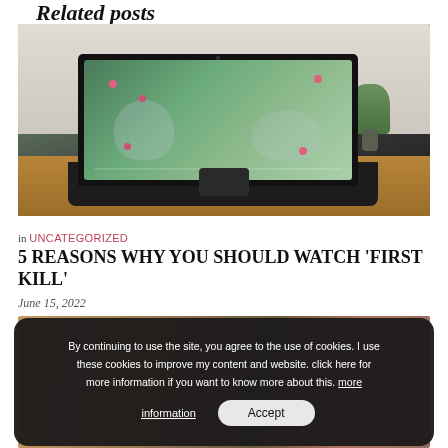Related posts
[Figure (photo): A laptop computer sitting on a wooden surface with a plant behind it. The laptop screen shows an animated/illustrated scene with two figures lying on grass with pink flower decorations.]
in UNCATEGORIZED
5 REASONS WHY YOU SHOULD WATCH ‘FIRST KILL’
June 15, 2022
[Figure (photo): A partial photo of a room interior with bookshelves and warm lighting, partially obscured by a cookie consent overlay dialog.]
By continuing to use the site, you agree to the use of cookies. I use these cookies to improve my content and website. click here for more information if you want to know more about this. more information Accept